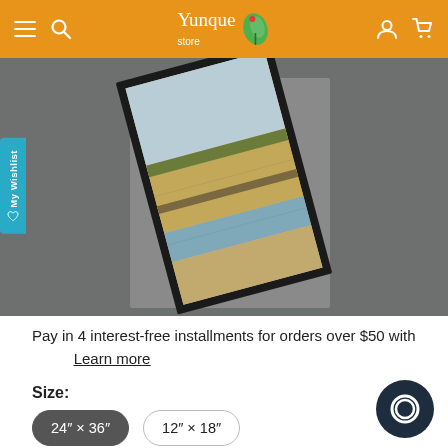Yunque store — navigation header with hamburger menu, search, logo, user icon, cart icon
[Figure (photo): Product photo showing a framed landscape photograph tilted at an angle, displayed against a gray background. The framed print shows a coastal or riverside scene with sandy areas, water, and sky. The frame is dark/black.]
Pay in 4 interest-free installments for orders over $50 with  Learn more
Size:
24" × 36"
12" × 18"